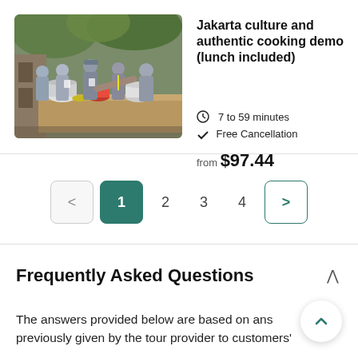[Figure (photo): Group of people gathered around a cooking station with various dishes, pots, and cooking equipment on a table, outdoors with green plants in background]
Jakarta culture and authentic cooking demo (lunch included)
7 to 59 minutes
Free Cancellation
from $97.44
< 1 2 3 4 >
Frequently Asked Questions
The answers provided below are based on answers previously given by the tour provider to customers'